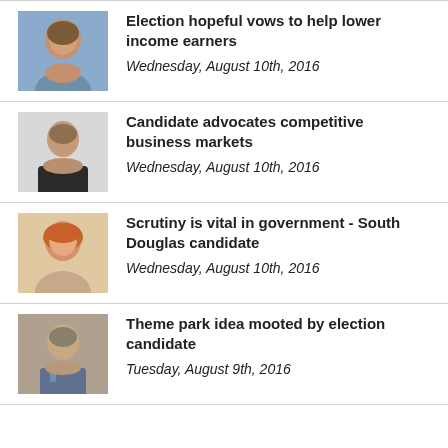Election hopeful vows to help lower income earners
Wednesday, August 10th, 2016
Candidate advocates competitive business markets
Wednesday, August 10th, 2016
Scrutiny is vital in government - South Douglas candidate
Wednesday, August 10th, 2016
Theme park idea mooted by election candidate
Tuesday, August 9th, 2016